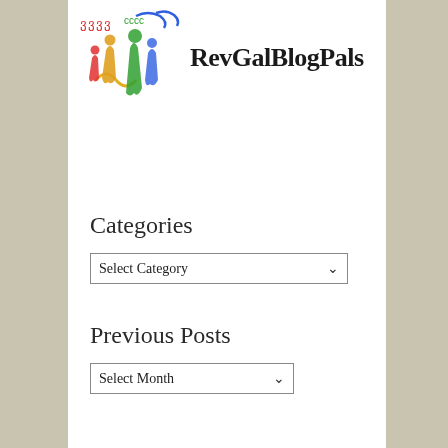[Figure (logo): RevGalBlogPals logo with colorful swirling figures and text 'RevGalBlogPals']
Categories
[Figure (screenshot): Select Category dropdown box]
Previous Posts
[Figure (screenshot): Select Month dropdown box]